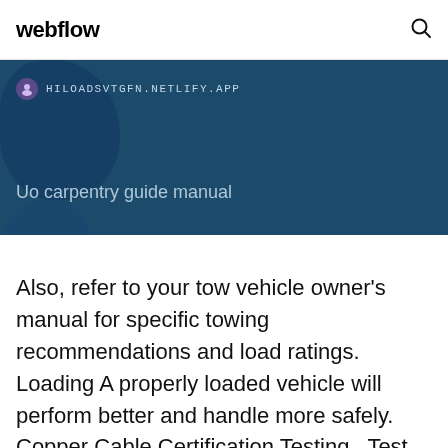webflow
[Figure (screenshot): Blue map banner with URL HILOADSVTGFN.NETLIFY.APP and title 'Uo carpentry guide manual']
Also, refer to your tow vehicle owner's manual for specific towing recommendations and load ratings. Loading A properly loaded vehicle will perform better and handle more safely. Copper Cable Certification Testing . Test at both ends of structured twisted